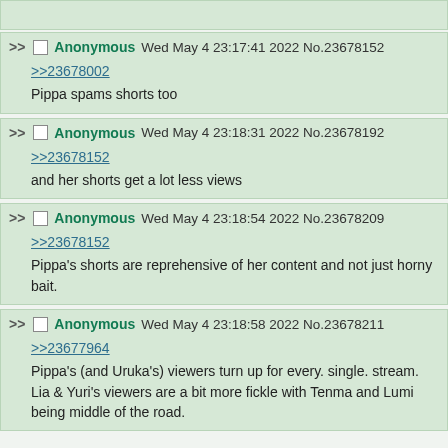[partial post at top]
Anonymous Wed May 4 23:17:41 2022 No.23678152
>>23678002
Pippa spams shorts too
Anonymous Wed May 4 23:18:31 2022 No.23678192
>>23678152
and her shorts get a lot less views
Anonymous Wed May 4 23:18:54 2022 No.23678209
>>23678152
Pippa's shorts are reprehensive of her content and not just horny bait.
Anonymous Wed May 4 23:18:58 2022 No.23678211
>>23677964
Pippa's (and Uruka's) viewers turn up for every. single. stream.
Lia & Yuri's viewers are a bit more fickle with Tenma and Lumi being middle of the road.